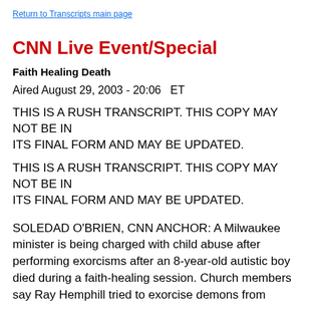Return to Transcripts main page
CNN Live Event/Special
Faith Healing Death
Aired August 29, 2003 - 20:06   ET
THIS IS A RUSH TRANSCRIPT. THIS COPY MAY NOT BE IN ITS FINAL FORM AND MAY BE UPDATED.
THIS IS A RUSH TRANSCRIPT. THIS COPY MAY NOT BE IN ITS FINAL FORM AND MAY BE UPDATED.
SOLEDAD O'BRIEN, CNN ANCHOR: A Milwaukee minister is being charged with child abuse after performing exorcisms after an 8-year-old autistic boy died during a faith-healing session. Church members say Ray Hemphill tried to exorcise demons from